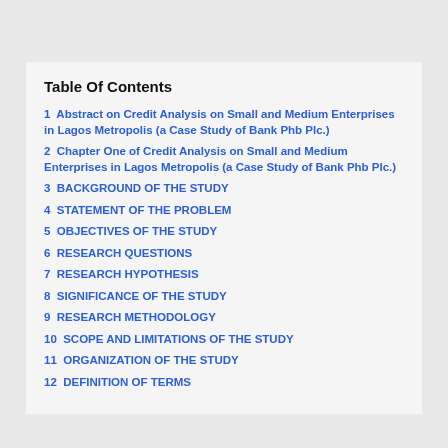Table Of Contents
1  Abstract on Credit Analysis on Small and Medium Enterprises in Lagos Metropolis (a Case Study of Bank Phb Plc.)
2  Chapter One of Credit Analysis on Small and Medium Enterprises in Lagos Metropolis (a Case Study of Bank Phb Plc.)
3  BACKGROUND OF THE STUDY
4  STATEMENT OF THE PROBLEM
5  OBJECTIVES OF THE STUDY
6  RESEARCH QUESTIONS
7  RESEARCH HYPOTHESIS
8  SIGNIFICANCE OF THE STUDY
9  RESEARCH METHODOLOGY
10  SCOPE AND LIMITATIONS OF THE STUDY
11  ORGANIZATION OF THE STUDY
12  DEFINITION OF TERMS